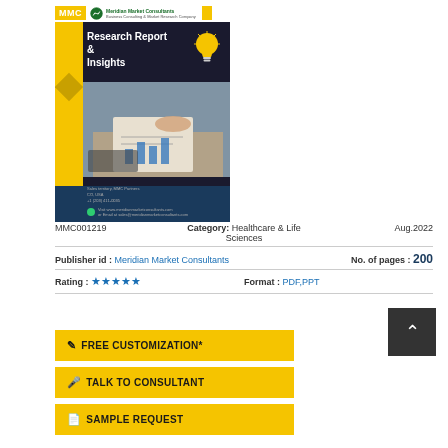[Figure (illustration): MMC Meridian Market Consultants logo and research report book cover with yellow stripe, lightbulb icon, business photo, and contact footer]
MMC001219    Category: Healthcare & Life Sciences    Aug.2022
Publisher id : Meridian Market Consultants    No. of pages : 200
Rating : ★★★★★    Format : PDF,PPT
FREE CUSTOMIZATION*
TALK TO CONSULTANT
SAMPLE REQUEST